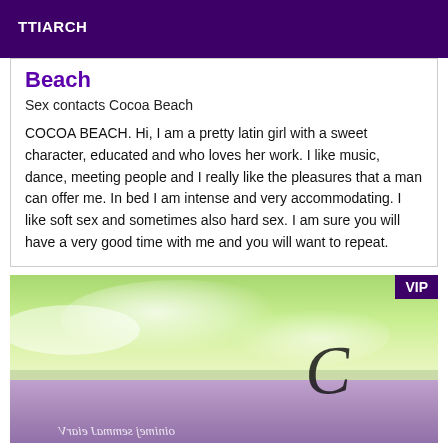TTIARCH
Beach
Sex contacts Cocoa Beach
COCOA BEACH. Hi, I am a pretty latin girl with a sweet character, educated and who loves her work. I like music, dance, meeting people and I really like the pleasures that a man can offer me. In bed I am intense and very accommodating. I like soft sex and sometimes also hard sex. I am sure you will have a very good time with me and you will want to repeat.
[Figure (photo): Beach scene with green sky, clouds, water, and purple lavender foreground. Cursive script text overlaid on image. VIP badge in top-right corner.]